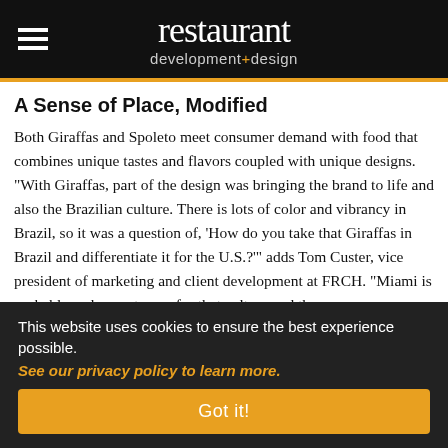restaurant development+design
A Sense of Place, Modified
Both Giraffas and Spoleto meet consumer demand with food that combines unique tastes and flavors coupled with unique designs. "With Giraffas, part of the design was bringing the brand to life and also the Brazilian culture. There is lots of color and vibrancy in Brazil, so it was a question of, 'How do you take that Giraffas in Brazil and differentiate it for the U.S.'" adds Tom Custer, vice president of marketing and client development at FRCH. "Miami is probably a close entrance for that culture and then, once established there, the concept can grow
This website uses cookies to ensure the best experience possible. See our privacy policy to learn more.
Got it!